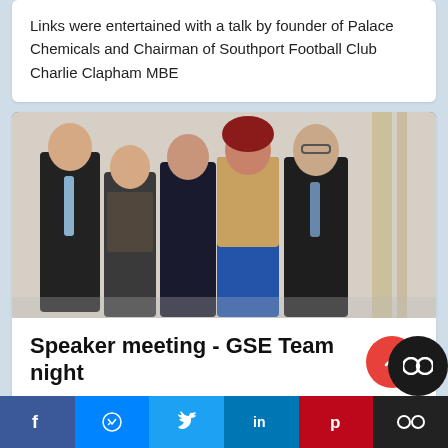Links were entertained with a talk by founder of Palace Chemicals and Chairman of Southport Football Club Charlie Clapham MBE
[Figure (photo): Group photo of five people standing together indoors — two men in dark suits on the ends, three women in the middle, against a light-coloured wall with decorative columns.]
Speaker meeting - GSE Team night
Facebook | Messenger | Twitter | LinkedIn | Pinterest | Toggle